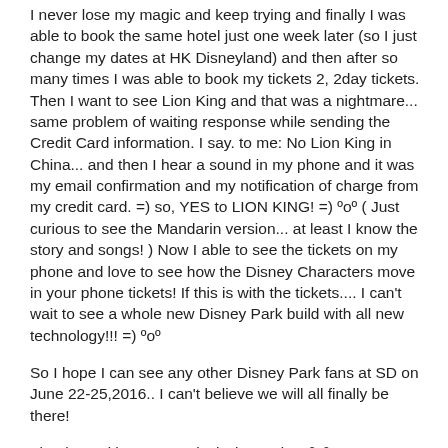I never lose my magic and keep trying and finally I was able to book the same hotel just one week later (so I just change my dates at HK Disneyland) and then after so many times I was able to book my tickets 2, 2day tickets. Then I want to see Lion King and that was a nightmare... same problem of waiting response while sending the Credit Card information. I say. to me: No Lion King in China... and then I hear a sound in my phone and it was my email confirmation and my notification of charge from my credit card. =) so, YES to LION KING! =) ºoº ( Just curious to see the Mandarin version... at least I know the story and songs! ) Now I able to see the tickets on my phone and love to see how the Disney Characters move in your phone tickets! If this is with the tickets.... I can't wait to see a whole new Disney Park build with all new technology!!! =) ºoº
So I hope I can see any other Disney Park fans at SD on June 22-25,2016.. I can't believe we will all finally be there!
Thanks and have a magical Disney day! ºoº
Rodolfo